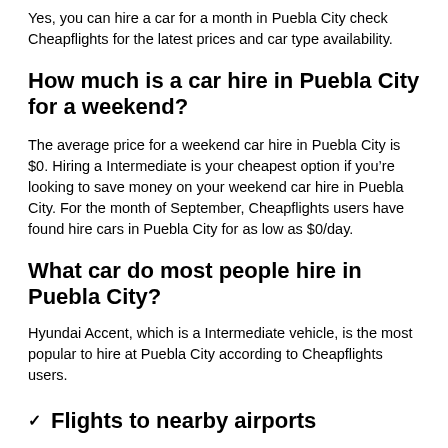Yes, you can hire a car for a month in Puebla City check Cheapflights for the latest prices and car type availability.
How much is a car hire in Puebla City for a weekend?
The average price for a weekend car hire in Puebla City is $0. Hiring a Intermediate is your cheapest option if you're looking to save money on your weekend car hire in Puebla City. For the month of September, Cheapflights users have found hire cars in Puebla City for as low as $0/day.
What car do most people hire in Puebla City?
Hyundai Accent, which is a Intermediate vehicle, is the most popular to hire at Puebla City according to Cheapflights users.
Flights to nearby airports
Other popular destinations